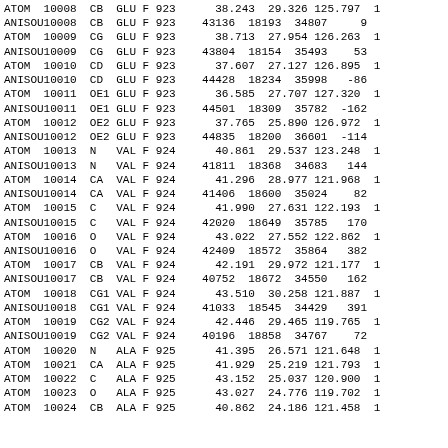PDB coordinate data lines (ATOM and ANISOU records) for residues GLU F 923, VAL F 924, ALA F 925